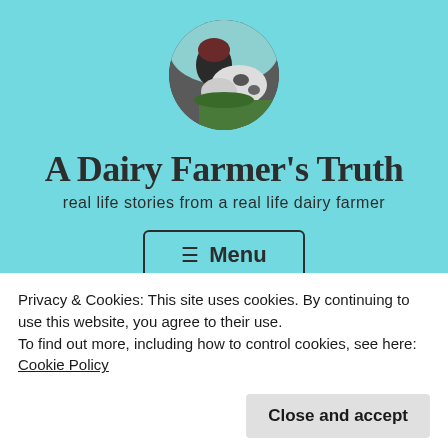[Figure (photo): Circular profile photo of a person with a dairy cow/animal, dark tones]
A Dairy Farmer's Truth
real life stories from a real life dairy farmer
☰ Menu
Privacy & Cookies: This site uses cookies. By continuing to use this website, you agree to their use.
To find out more, including how to control cookies, see here: Cookie Policy
Close and accept
Category: light